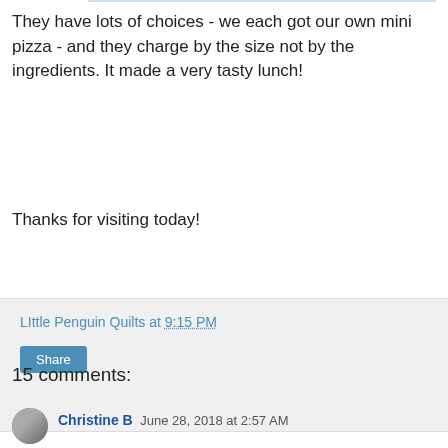They have lots of choices - we each got our own mini pizza - and they charge by the size not by the ingredients.  It made a very tasty lunch!
Thanks for visiting today!
LIttle Penguin Quilts at 9:15 PM
Share
15 comments:
Christine B  June 28, 2018 at 2:57 AM